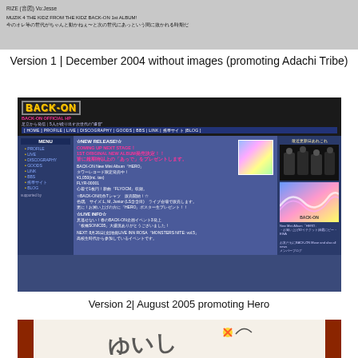[Figure (screenshot): Screenshot of a grey webpage with Japanese text. Shows 'RIZE (音図) Vo:Jesse' and 'MUZIK 4 THE KIDZ FROM THE KIDZ BACK-ON 1st ALBUM!' with Japanese text below.]
Version 1 | December 2004 without images (promoting Adachi Tribe)
[Figure (screenshot): Screenshot of BACK-ON official website from August 2005. Dark blue background with BACK-ON logo in yellow, navigation menu, news about new mini album 'HERO', band photo, and album artwork with rainbow design.]
Version 2| August 2005 promoting Hero
[Figure (screenshot): Partial screenshot of a BACK-ON website version with red brick wall background and white center area showing a sketch/graffiti style logo design.]